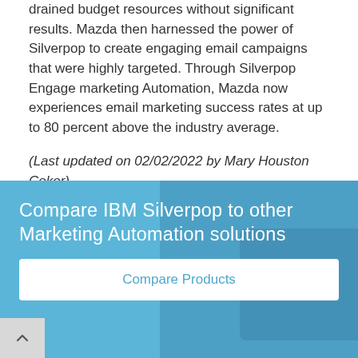drained budget resources without significant results. Mazda then harnessed the power of Silverpop to create engaging email campaigns that were highly targeted. Through Silverpop Engage marketing Automation, Mazda now experiences email marketing success rates at up to 80 percent above the industry average.
(Last updated on 02/02/2022 by Mary Houston Coker)
Compare IBM Silverpop to other Marketing Automation solutions
Compare Products